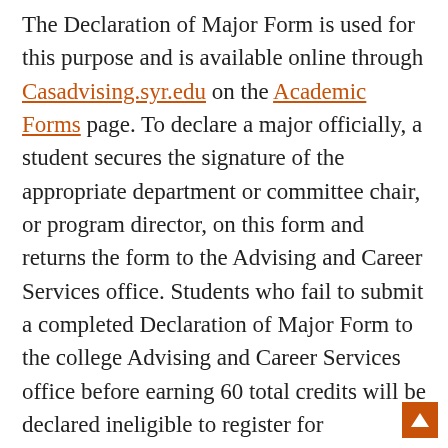The Declaration of Major Form is used for this purpose and is available online through Casadvising.syr.edu on the Academic Forms page. To declare a major officially, a student secures the signature of the appropriate department or committee chair, or program director, on this form and returns the form to the Advising and Career Services office. Students who fail to submit a completed Declaration of Major Form to the college Advising and Career Services office before earning 60 total credits will be declared ineligible to register for subsequent semeste…